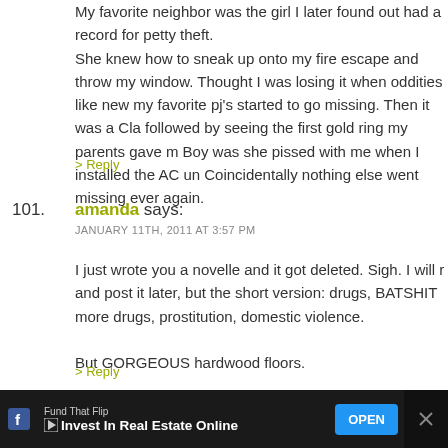My favorite neighbor was the girl I later found out had a record for petty theft. She knew how to sneak up onto my fire escape and through my window. Thought I was losing it when oddities like new pj's started to go missing. Then it was a Claddagh followed by seeing the first gold ring my parents gave me. Boy was she pissed with me when I installed the AC unit. Coincidentally nothing else went missing ever again.
> Reply
101. amanda says:
JANUARY 11TH, 2011 AT 3:57 PM
I just wrote you a novelle and it got deleted. Sigh. I will rewrite and post it later, but the short version: drugs, BATSHIT more drugs, prostitution, domestic violence.
But GORGEOUS hardwood floors.
> Reply
[Figure (infographic): Advertisement banner: Fund That Flip - Invest In Real Estate Online with OPEN button, Facebook icon on left, close X button on right]